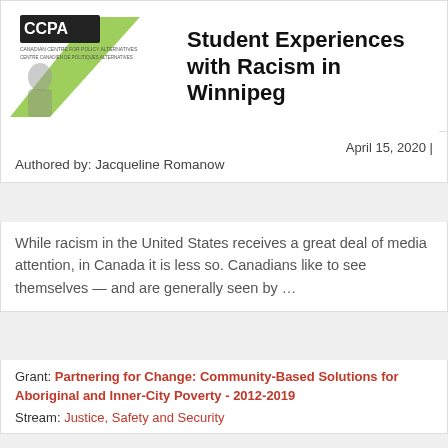[Figure (logo): CCPA (Canadian Centre for Policy Alternatives) logo with green diagonal stripe graphic]
Student Experiences with Racism in Winnipeg
April 15, 2020 | Authored by: Jacqueline Romanow
While racism in the United States receives a great deal of media attention, in Canada it is less so. Canadians like to see themselves — and are generally seen by ...
Grant: Partnering for Change: Community-Based Solutions for Aboriginal and Inner-City Poverty - 2012-2019
Stream: Justice, Safety and Security